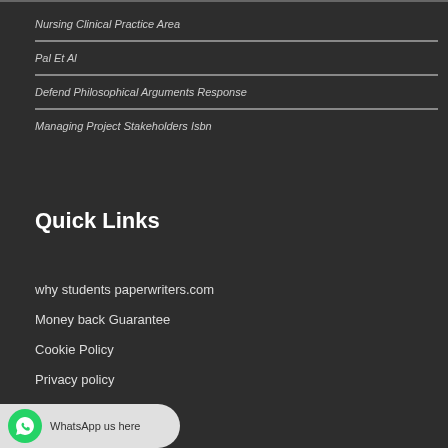Nursing Clinical Practice Area
Pal Et Al
Defend Philosophical Arguments Response
Managing Project Stakeholders Isbn
Quick Links
why students paperwriters.com
Money back Guarantee
Cookie Policy
Privacy policy
Terms of service